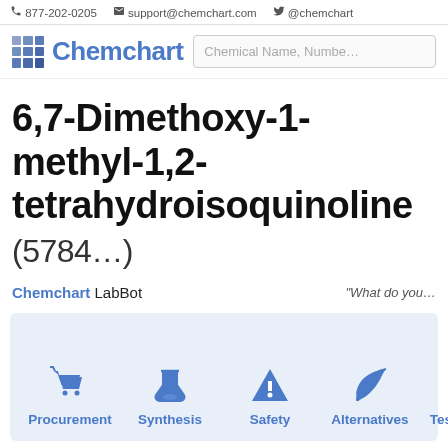877-202-0205  support@chemchart.com  @chemchart
[Figure (logo): Chemchart logo with grid icon and search box showing 'Chemical Name, Number']
6,7-Dimethoxy-1-methyl-1,2-tetrahydroisoquinoline (5784…)
Chemchart LabBot   "What do you…"
[Figure (infographic): Tab panel with icons for Procurement, Synthesis, Safety, Alternatives, Testing]
Suppliers